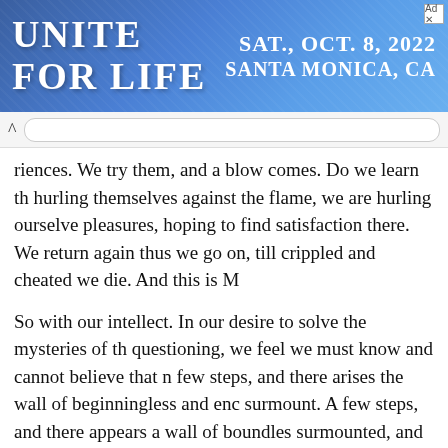[Figure (other): Advertisement banner for 'Unite for Life' event, SAT., OCT. 8, 2022, SANTA MONICA, CA with blue gradient background and palm tree imagery]
riences. We try them, and a blow comes. Do we learn th hurling themselves against the flame, we are hurling ourselves pleasures, hoping to find satisfaction there. We return again thus we go on, till crippled and cheated we die. And this is M
So with our intellect. In our desire to solve the mysteries of th questioning, we feel we must know and cannot believe that n few steps, and there arises the wall of beginningless and enc surmount. A few steps, and there appears a wall of boundles surmounted, and the whole is irrevocably bound in by the wa go beyond them. Yet we struggle, and still have to struggle. A
With every breath, with every pulsation of the heart with ever we are free, and the very same moment we are shown that w bond-slaves, in body, in mind, in all our thoughts, in all our fe
There was never a mother who did not think her child was a outstanding child that anyone had seen, but t